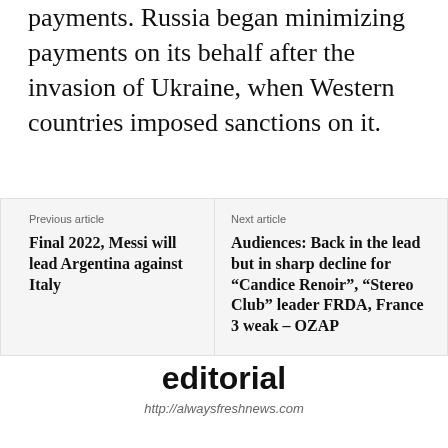payments. Russia began minimizing payments on its behalf after the invasion of Ukraine, when Western countries imposed sanctions on it.
Previous article
Final 2022, Messi will lead Argentina against Italy
Next article
Audiences: Back in the lead but in sharp decline for “Candice Renoir”, “Stereo Club” leader FRDA, France 3 weak – OZAP
editorial
http://alwaysfreshnews.com